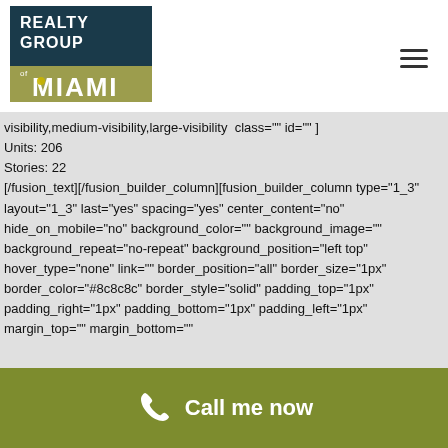[Figure (logo): Realty Group of Miami logo — dark teal rectangle with white text REALTY GROUP and MIAMI]
visibility,medium-visibility,large-visibility  class="" id=""
Units: 206
Stories: 22
[/fusion_text][/fusion_builder_column][fusion_builder_column type="1_3" layout="1_3" last="yes" spacing="yes" center_content="no" hide_on_mobile="no" background_color="" background_image="" background_repeat="no-repeat" background_position="left top" hover_type="none" link="" border_position="all" border_size="1px" border_color="#8c8c8c" border_style="solid" padding_top="1px" padding_right="1px" padding_bottom="1px" padding_left="1px" margin_top="" margin_bottom=""
Call me now